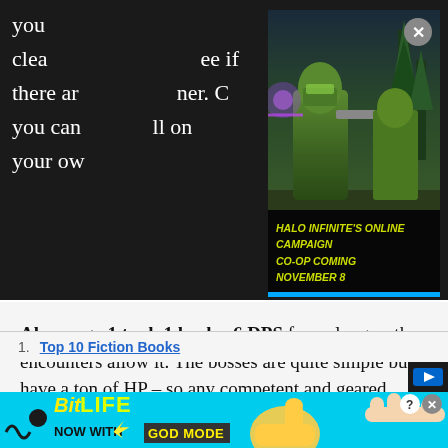you clea... see if there ar... ner. C... you can ... all on your ow...
[Figure (screenshot): Halo Infinite game advertisement banner showing armored soldiers with text: HALO INFINITE'S ONLINE CAMPAIGN CO-OP COMING NOVEMBER 8]
Always go 1 tank 1 healer 6 DPS for as long as the encounters allow it. The bosses are quite simple but have a ton of HP – so any competent and geared healer/tank combo can easily manage alone.
Attune to aether currents ASAP, it's basic advice, but worth throwing it out there.
1. Top 10 Fiction Books
[Figure (screenshot): BitLife mobile game advertisement banner: BitLife NOW WITH GOD MODE]